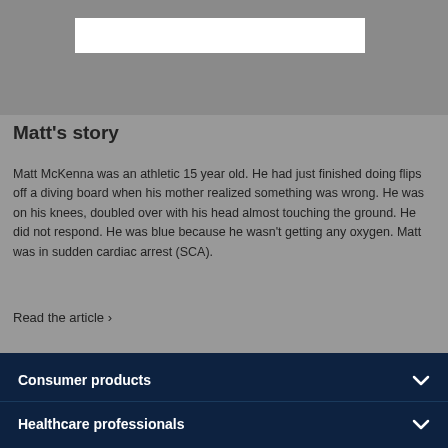[Figure (photo): Photo of a person with a white redacted/blurred bar over part of the image, gray background]
Matt's story
Matt McKenna was an athletic 15 year old. He had just finished doing flips off a diving board when his mother realized something was wrong. He was on his knees, doubled over with his head almost touching the ground. He did not respond. He was blue because he wasn't getting any oxygen. Matt was in sudden cardiac arrest (SCA).
Read the article ›
Consumer products
Healthcare professionals